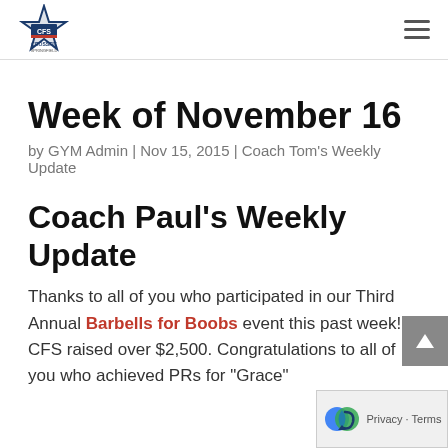CFS CrossFit [logo] | hamburger menu
Week of November 16
by GYM Admin | Nov 15, 2015 | Coach Tom's Weekly Update
Coach Paul's Weekly Update
Thanks to all of you who participated in our Third Annual Barbells for Boobs event this past week! CFS raised over $2,500. Congratulations to all of you who achieved PRs for “Grace”